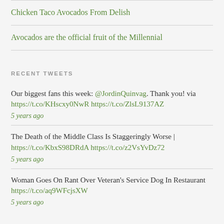Chicken Taco Avocados From Delish
Avocados are the official fruit of the Millennial
RECENT TWEETS
Our biggest fans this week: @JordinQuinvag. Thank you! via https://t.co/KHscxy0NwR https://t.co/ZlsL9137AZ
5 years ago
The Death of the Middle Class Is Staggeringly Worse | https://t.co/KbxS98DRdA https://t.co/z2VsYvDz72
5 years ago
Woman Goes On Rant Over Veteran's Service Dog In Restaurant https://t.co/aq9WFcjsXW
5 years ago